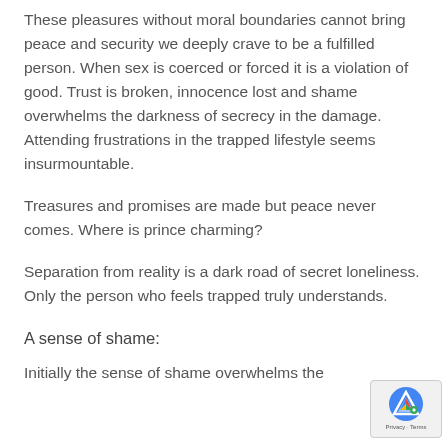These pleasures without moral boundaries cannot bring peace and security we deeply crave to be a fulfilled person. When sex is coerced or forced it is a violation of good. Trust is broken, innocence lost and shame overwhelms the darkness of secrecy in the damage. Attending frustrations in the trapped lifestyle seems insurmountable.
Treasures and promises are made but peace never comes. Where is prince charming?
Separation from reality is a dark road of secret loneliness. Only the person who feels trapped truly understands.
A sense of shame:
Initially the sense of shame overwhelms the